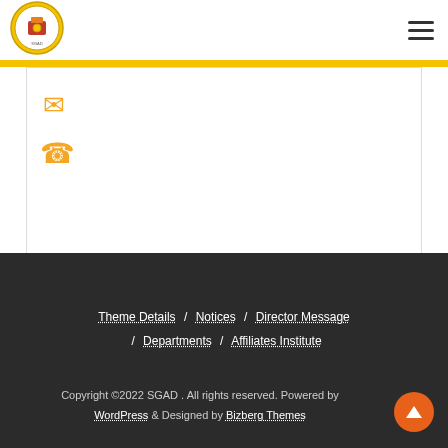SGAD logo and navigation menu
[Figure (logo): Circular institution logo/emblem in yellow and red colors]
[Figure (infographic): Email icon (envelope) in orange/yellow color]
[Figure (infographic): Phone icon in orange/yellow color]
Theme Details / Notices / Director Message / Departments / Affiliates Institute
Copyright ©2022 SGAD . All rights reserved. Powered by WordPress & Designed by Bizberg Themes